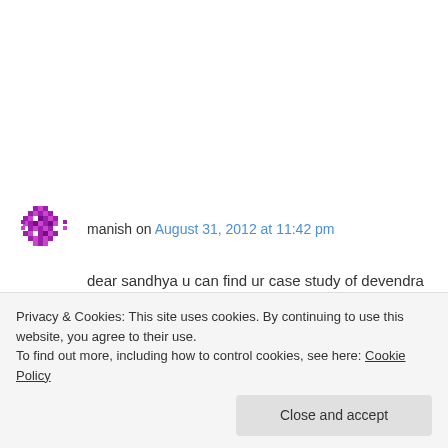manish on August 31, 2012 at 11:42 pm
dear sandhya u can find ur case study of devendra and dharampal on this both link http://www.ljbs.in/docs/Exam5_CaseStudy_2009.pdf and http://www.scribd.com/doc/83615329/Exam5-CaseStudy_2009 ...
Privacy & Cookies: This site uses cookies. By continuing to use this website, you agree to their use.
To find out more, including how to control cookies, see here: Cookie Policy
Close and accept
2010,2.]mrs.urvashi solanki 2010,3.]ashwin